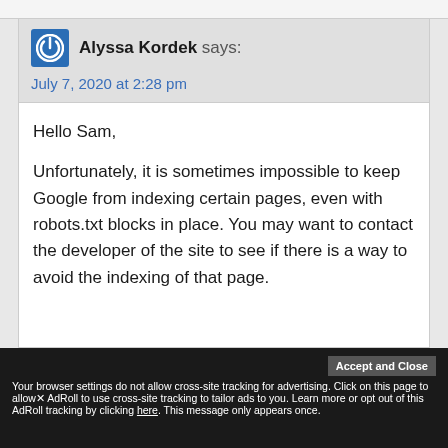Alyssa Kordek says:
July 7, 2020 at 2:28 pm
Hello Sam,

Unfortunately, it is sometimes impossible to keep Google from indexing certain pages, even with robots.txt blocks in place. You may want to contact the developer of the site to see if there is a way to avoid the indexing of that page.
Accept and Close
Your browser settings do not allow cross-site tracking for advertising. Click on this page to allow AdRoll to use cross-site tracking to tailor ads to you. Learn more or opt out of this AdRoll tracking by clicking here. This message only appears once.